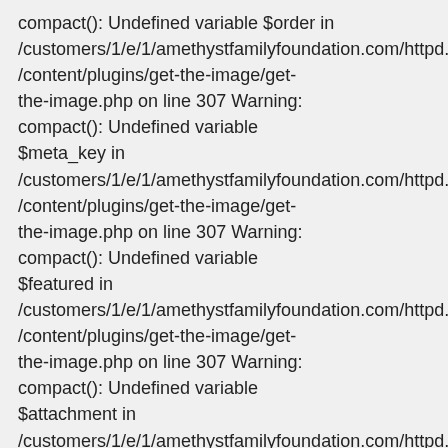compact(): Undefined variable $order in /customers/1/e/1/amethystfamilyfoundation.com/httpd.www/content/plugins/get-the-image/get-the-image.php on line 307 Warning: compact(): Undefined variable $meta_key in /customers/1/e/1/amethystfamilyfoundation.com/httpd.www/content/plugins/get-the-image/get-the-image.php on line 307 Warning: compact(): Undefined variable $featured in /customers/1/e/1/amethystfamilyfoundation.com/httpd.www/content/plugins/get-the-image/get-the-image.php on line 307 Warning: compact(): Undefined variable $attachment in /customers/1/e/1/amethystfamilyfoundation.com/httpd.www/content/plugins/get-the-image/get-